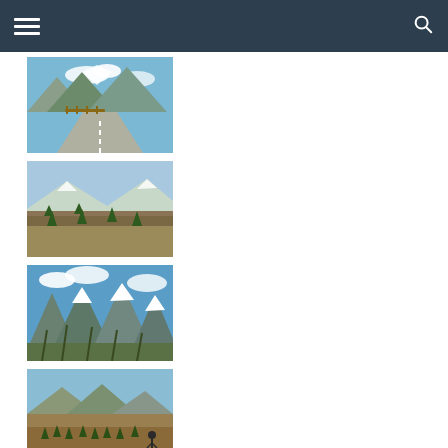Navigation header with hamburger menu and search icon
[Figure (photo): Mountain road with guardrail, rocky peaks and blue sky in background]
[Figure (photo): Open landscape with scattered conifers, mountains with snow in background]
[Figure (photo): Snow-capped mountain peaks with blue sky and clouds, rocky terrain in foreground]
[Figure (photo): Mountain meadow with planted conifers, rocky hillside in background, person visible]
[Figure (photo): Person standing on rocky ground with mountains and tree plantation in background]
[Figure (photo): Partially visible landscape photo with mountains and blue sky]